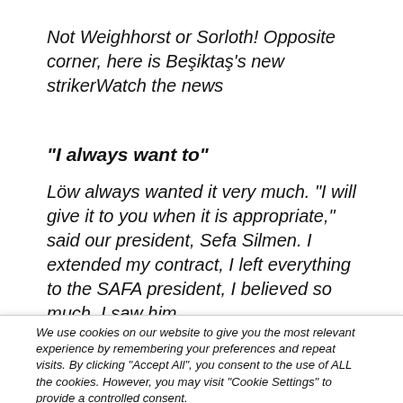Not Weighhorst or Sorloth! Opposite corner, here is Beşiktaş's new strikerWatch the news
“I always want to”
Löw always wanted it very much. “I will give it to you when it is appropriate,” said our president, Sefa Silmen. I extended my contract, I left everything to the SAFA president, I believed so much, I saw him
We use cookies on our website to give you the most relevant experience by remembering your preferences and repeat visits. By clicking “Accept All”, you consent to the use of ALL the cookies. However, you may visit “Cookie Settings” to provide a controlled consent.